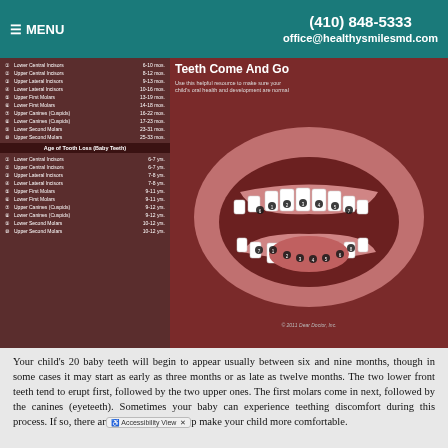≡ MENU  (410) 848-5333  office@healthysmilesmd.com
[Figure (infographic): Dental infographic showing baby teeth eruption and loss timeline with an open-mouth illustration. Left panel lists Age of Eruption (Baby Teeth): 1 Lower Central Incisors 6-10 mos., 2 Upper Central Incisors 8-12 mos., 3 Upper Lateral Incisors 9-13 mos., 4 Lower Lateral Incisors 10-16 mos., 5 Upper First Molars 13-19 mos., 6 Lower First Molars 14-18 mos., 7 Upper Canines (Cuspids) 16-22 mos., 8 Lower Canines (Cuspids) 17-23 mos., 9 Lower Second Molars 23-31 mos., 10 Upper Second Molars 25-33 mos. Age of Tooth Loss (Baby Teeth): 1 Lower Central Incisors 6-7 yrs., 2 Upper Central Incisors 6-7 yrs., 3 Upper Lateral Incisors 7-8 yrs., 4 Lower Lateral Incisors 7-8 yrs., 5 Upper First Molars 9-11 yrs., 6 Lower First Molars 9-11 yrs., 7 Upper Canines (Cuspids) 9-12 yrs., 8 Lower Canines (Cuspids) 9-12 yrs., 9 Lower Second Molars 10-12 yrs., 10 Upper Second Molars 10-12 yrs. Right panel title: Teeth Come And Go. Subtitle: Use this helpful resource to make sure your child's oral health and development are normal. © 2011 Dear Doctor, Inc.]
Your child's 20 baby teeth will begin to appear usually between six and nine months, though in some cases it may start as early as three months or as late as twelve months. The two lower front teeth tend to erupt first, followed by the two upper ones. The first molars come in next, followed by the canines (eyeteeth). Sometimes your baby can experience teething discomfort during this process. If so, there are things that can help make your child more comfortable.